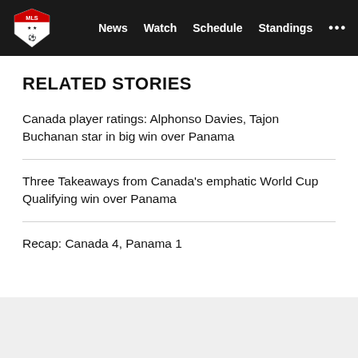MLS | News  Watch  Schedule  Standings  ...
RELATED STORIES
Canada player ratings: Alphonso Davies, Tajon Buchanan star in big win over Panama
Three Takeaways from Canada's emphatic World Cup Qualifying win over Panama
Recap: Canada 4, Panama 1